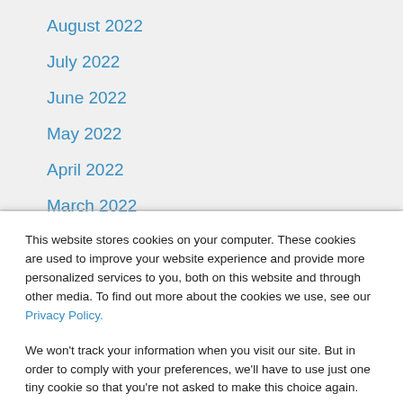August 2022
July 2022
June 2022
May 2022
April 2022
March 2022
This website stores cookies on your computer. These cookies are used to improve your website experience and provide more personalized services to you, both on this website and through other media. To find out more about the cookies we use, see our Privacy Policy.

We won't track your information when you visit our site. But in order to comply with your preferences, we'll have to use just one tiny cookie so that you're not asked to make this choice again.